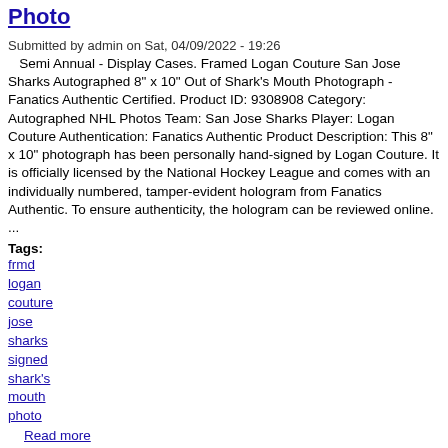Photo
Submitted by admin on Sat, 04/09/2022 - 19:26
Semi Annual - Display Cases. Framed Logan Couture San Jose Sharks Autographed 8" x 10" Out of Shark's Mouth Photograph - Fanatics Authentic Certified. Product ID: 9308908 Category: Autographed NHL Photos Team: San Jose Sharks Player: Logan Couture Authentication: Fanatics Authentic Product Description: This 8" x 10" photograph has been personally hand-signed by Logan Couture. It is officially licensed by the National Hockey League and comes with an individually numbered, tamper-evident hologram from Fanatics Authentic. To ensure authenticity, the hologram can be reviewed online. ...
Tags:
frmd
logan
couture
jose
sharks
signed
shark's
mouth
photo
Read more